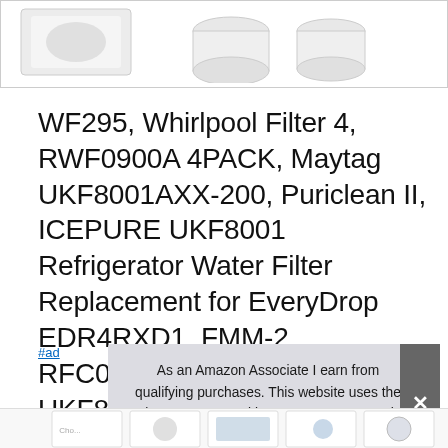[Figure (photo): Product image area showing white refrigerator water filter cartridges on white background]
WF295, Whirlpool Filter 4, RWF0900A 4PACK, Maytag UKF8001AXX-200, Puriclean II, ICEPURE UKF8001 Refrigerator Water Filter Replacement for EveryDrop EDR4RXD1, FMM-2, RFC0900A, 469006, UKF8001P, 4396395
As an Amazon Associate I earn from qualifying purchases. This website uses the only necessary cookies to ensure you get the best experience on our website. More information
#ad